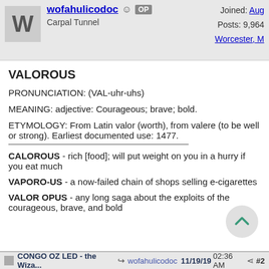wofahulicodoc OP  Carpal Tunnel  Joined: Aug  Posts: 9,964  Worcester, M
VALOROUS
PRONUNCIATION: (VAL-uhr-uhs)
MEANING: adjective: Courageous; brave; bold.
ETYMOLOGY: From Latin valor (worth), from valere (to be well or strong). Earliest documented use: 1477.
CALOROUS - rich [food]; will put weight on you in a hurry if you eat much
VAPORO-US - a now-failed chain of shops selling e-cigarettes
VALOR OPUS - any long saga about the exploits of the courageous, brave, and bold
CONGO OZ LED - the Wiza... wofahulicodoc 11/19/19 02:36 AM #2